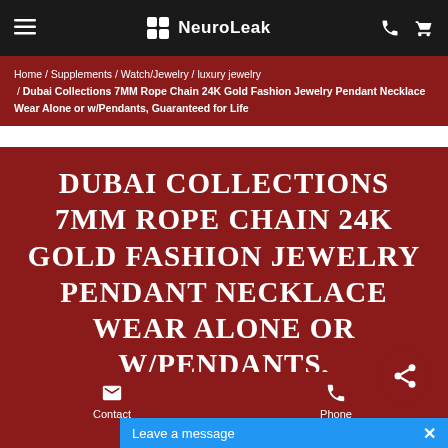NeuroLeak
Home / Supplements / Watch/Jewelry / luxury jewelry / Dubai Collections 7MM Rope Chain 24K Gold Fashion Jewelry Pendant Necklace Wear Alone or w/Pendants, Guaranteed for Life
DUBAI COLLECTIONS 7MM ROPE CHAIN 24K GOLD FASHION JEWELRY PENDANT NECKLACE WEAR ALONE OR W/PENDANTS, GUARANTEED FOR LIFE
[Figure (photo): Close-up photo of a gold rope chain necklace on a gray surface]
Contact   Phone   Leave a message